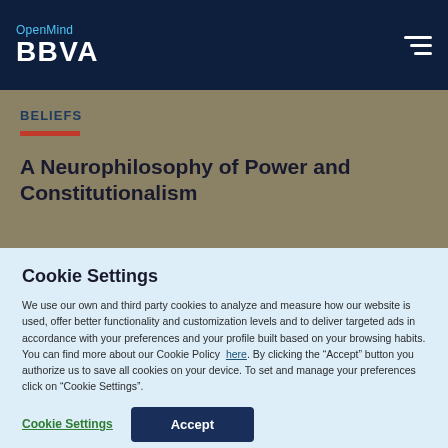OpenMind BBVA
BELIEFS
A Neurophilosophy of Power and Constitutionalism
Cookie Settings
We use our own and third party cookies to analyze and measure how our website is used, offer better functionality and customization levels and to deliver targeted ads in accordance with your preferences and your profile built based on your browsing habits. You can find more about our Cookie Policy here. By clicking the "Accept" button you authorize us to save all cookies on your device. To set and manage your preferences click on "Cookie Settings".
Cookie Settings | Accept